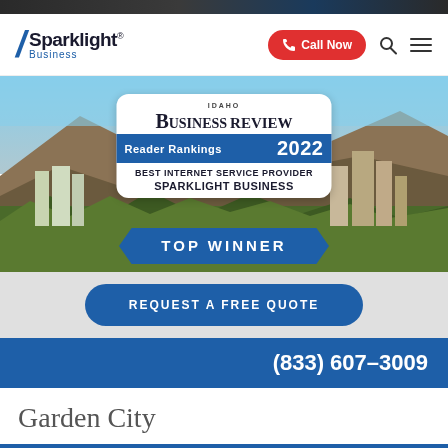[Figure (screenshot): Sparklight Business website screenshot showing logo, Call Now button, search and menu icons in navigation header]
[Figure (photo): Hero banner showing Boise Idaho cityscape with mountains in background, featuring Idaho Business Review Reader Rankings 2022 award badge for Best Internet Service Provider Sparklight Business - Top Winner, with blue ribbon banner]
REQUEST A FREE QUOTE
(833) 607-3009
Garden City
Save 20%
Call Now
Schedule